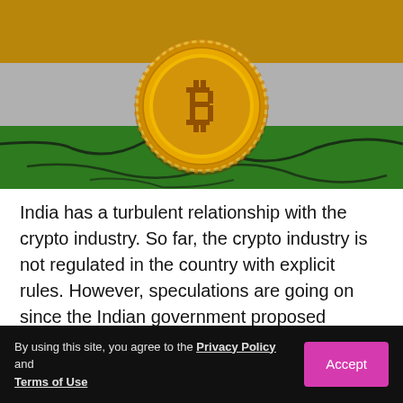[Figure (photo): A gold Bitcoin coin placed on top of a cracked surface painted in the colors of the Indian flag — saffron/orange at the top, white in the middle, and green at the bottom.]
India has a turbulent relationship with the crypto industry. So far, the crypto industry is not regulated in the country with explicit rules. However, speculations are going on since the Indian government proposed
is working to bring cryptocurrencies under the Goods
By using this site, you agree to the Privacy Policy and Terms of Use